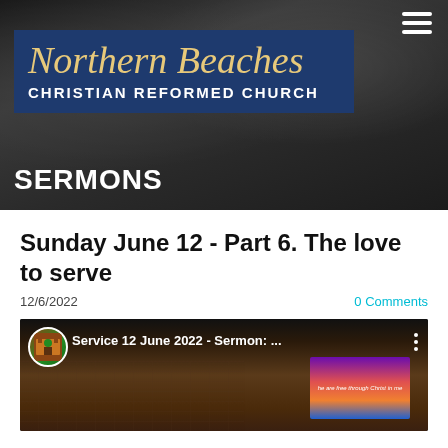[Figure (photo): Hero banner with dark background showing thorns and open Bible, Northern Beaches Christian Reformed Church logo, SERMONS label, and hamburger menu icon]
Sunday June 12 - Part 6.  The love to serve
12/6/2022
0 Comments
[Figure (screenshot): YouTube video thumbnail showing church interior with brick walls, video title 'Service 12 June 2022 - Sermon: ...' with church avatar, a screen displaying a purple/orange/blue landscape slide with text]